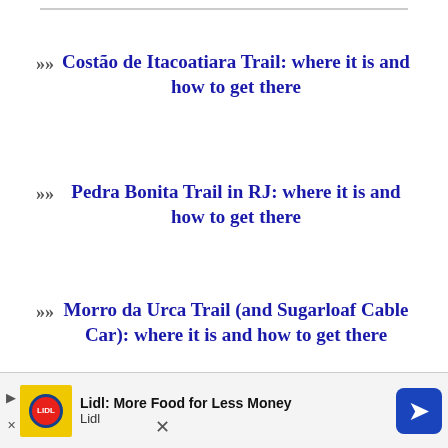>> Costão de Itacoatiara Trail: where it is and how to get there
>> Pedra Bonita Trail in RJ: where it is and how to get there
>> Morro da Urca Trail (and Sugarloaf Cable Car): where it is and how to get there
♡ Discover the 10 Biggest Waves in Brazil for Surfing
No compatible source was found for this media.
[Figure (other): Advertisement banner: Lidl: More Food for Less Money - Lidl logo with yellow background and navigation arrow icon]